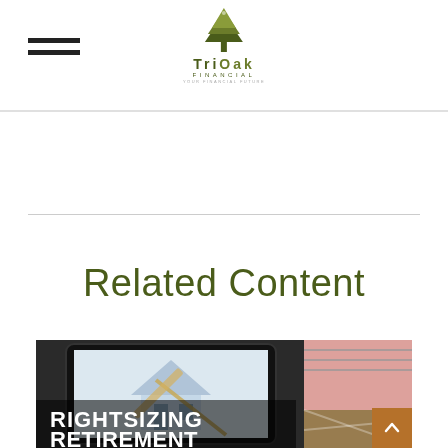TriOak Financial
Related Content
[Figure (photo): A tablet displaying an architectural house drawing, with a notebook and plaid fabric in the background. Text overlay reads 'RIGHTSIZING RETIREMENT' in bold white uppercase letters.]